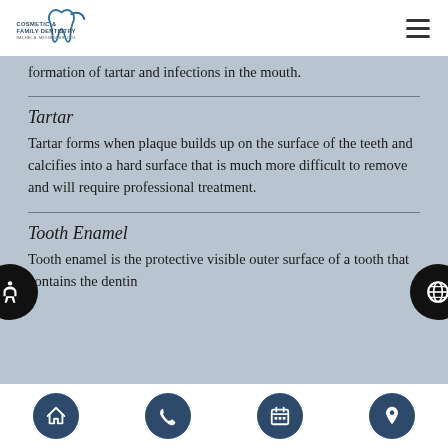Cosmetic & Family Dentistry — Rachel A. Messenger, DDS
formation of tartar and infections in the mouth.
Tartar
Tartar forms when plaque builds up on the surface of the teeth and calcifies into a hard surface that is much more difficult to remove and will require professional treatment.
Tooth Enamel
Tooth enamel is the protective visible outer surface of a tooth that contains the dentin
Home | Phone | Calendar | Location